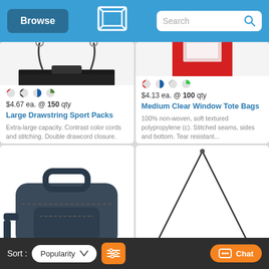Browse | Search
[Figure (screenshot): Large Drawstring Sport Packs product image - partial view of black drawstring straps with metal rings]
$4.67 ea. @ 150 qty
Large Drawstring Sport Packs
Extra-large capacity. Contrast color cords and stitching. Double drawcord closure.
[Figure (screenshot): Medium Clear Window Tote Bags product image - red bag partially visible]
$4.13 ea. @ 100 qty
Medium Clear Window Tote Bags
100% non-woven, soft textured polypropylene (c). Stitched seams, sides and bottom. Tear resistant...
[Figure (photo): Dark navy blue duffel/cooler bag with handles and shoulder strap]
[Figure (photo): Drawstring bag with thin wire/cord handles forming a triangle shape]
Sort: Popularity | Filter | Chat